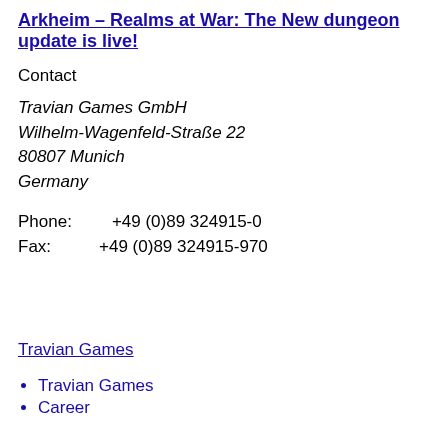Arkheim – Realms at War: The New dungeon update is live!
Contact
Travian Games GmbH
Wilhelm-Wagenfeld-Straße 22
80807 Munich
Germany
Phone:
+49 (0)89 324915-0
Fax:
+49 (0)89 324915-970
Travian Games
Travian Games
Career